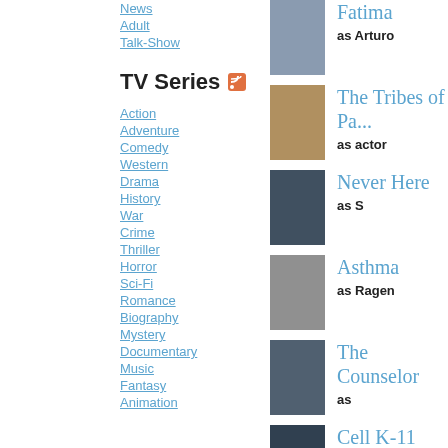News 124
Adult 131
Talk-Show 44
TV Series
Action 982
Adventure 946
Comedy 2898
Western 57
Drama 3000
History 191
War 98
Crime 993
Thriller 928
Horror 322
Sci-Fi 895
Romance 426
Biography 91
Mystery 824
Documentary 298
Music 124
Fantasy 778
Animation 1206
Fatima - as Arturo
The Tribes of Pa... - as actor
Never Here - as S
Asthma - as Ragen
The Counselor - as
Cell K-11 - as Raymond Saxx Jr.
Dark Hearts - as Armand
The 2012 Film I...